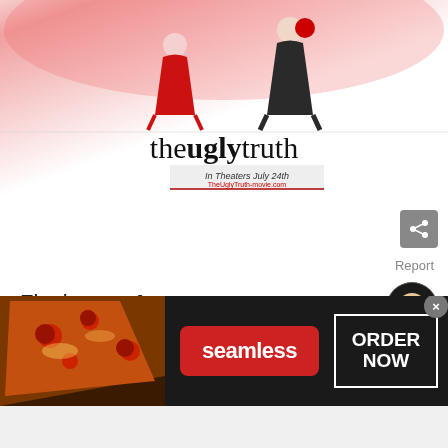[Figure (screenshot): Movie promotional banner for 'The Ugly Truth' showing a woman in red dress and a man in suit sitting back to back, with movie title below and tagline 'In Theaters July 24th' and website TheUglyTruth-movie.com]
Report
Final score:1
[Figure (photo): User avatar - rage face meme icon]
Add a comment...
POST
[Figure (infographic): Seamless food delivery advertisement banner showing pizza images on the left, Seamless logo in red in the center, and ORDER NOW button on the right]